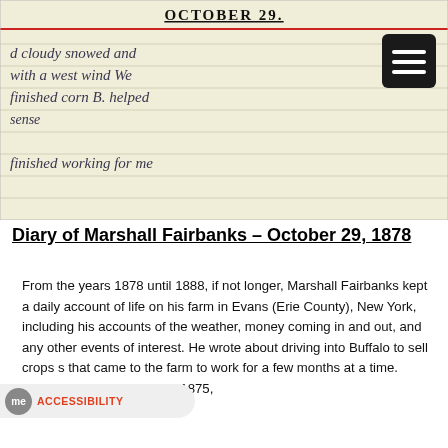[Figure (photo): Scanned diary page entry for October 29 in cursive handwriting on lined paper. Text reads: 'd cloudy snowed and with a west wind We finished corn B. helped sense finished working for me']
Diary of Marshall Fairbanks – October 29, 1878
From the years 1878 until 1888, if not longer, Marshall Fairbanks kept a daily account of life on his farm in Evans (Erie County), New York, including his accounts of the weather, money coming in and out, and any other events of interest. He wrote about driving into Buffalo to sell crops s that came to the farm to work for a few months at a time. According to the census in 1875, Marshall Fairbanks owned about 136...